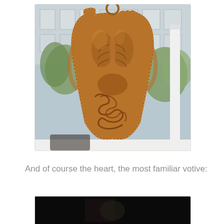[Figure (photo): A copper or bronze anatomical votive figure shaped like a human torso with internal organs depicted (lungs, intestines, and other organs), hanging in a window with a view of a building facade and trees outside. The object has a loop at the top for hanging and a beaded border around its edge.]
And of course the heart, the most familiar votive:
[Figure (photo): Partially visible photo, mostly dark, showing the beginning of another votive object image.]